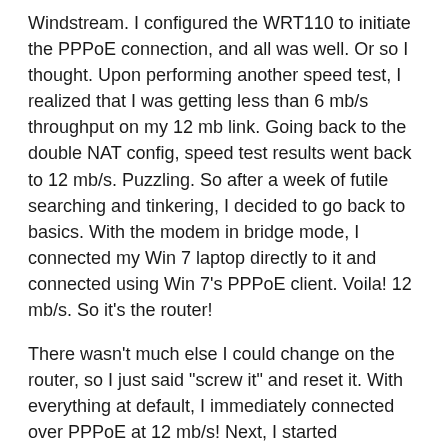Windstream. I configured the WRT110 to initiate the PPPoE connection, and all was well. Or so I thought. Upon performing another speed test, I realized that I was getting less than 6 mb/s throughput on my 12 mb link. Going back to the double NAT config, speed test results went back to 12 mb/s. Puzzling. So after a week of futile searching and tinkering, I decided to go back to basics. With the modem in bridge mode, I connected my Win 7 laptop directly to it and connected using Win 7's PPPoE client. Voila! 12 mb/s. So it's the router!
There wasn't much else I could change on the router, so I just said "screw it" and reset it. With everything at default, I immediately connected over PPPoE at 12 mb/s! Next, I started rebuilding my configuration from scratch with speed tests after each change and as soon as I hit the QoS settings, it dropped back down to under 6 mb/s. I have a UMA-capable Blackberry, so I had it's MAC address listed as a high-priority QoS device which may or may not be necessary since it never seemed to improve the awful quality of my WiFi calls. When I turned QoS off, the speed shot back up to 12 mb/s. So that's it. Just make sure QoS